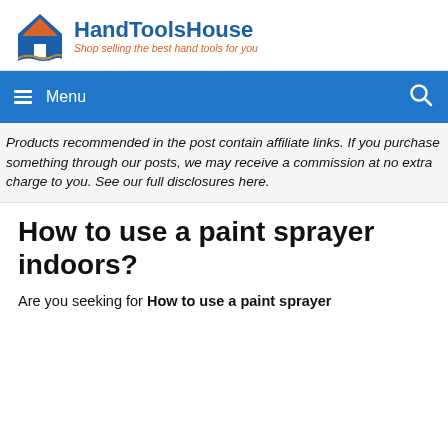[Figure (logo): HandToolsHouse logo with blue house/mountain icon and site name and tagline]
≡ Menu
Products recommended in the post contain affiliate links. If you purchase something through our posts, we may receive a commission at no extra charge to you. See our full disclosures here.
How to use a paint sprayer indoors?
Are you seeking for How to use a paint sprayer